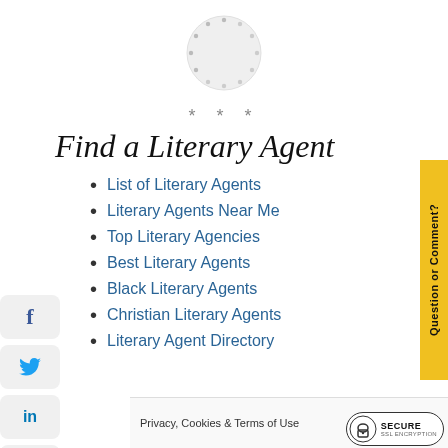[Figure (other): Circular loading spinner with dots arranged in a circle on a light gray background]
* * *
Find a Literary Agent
List of Literary Agents
Literary Agents Near Me
Top Literary Agencies
Best Literary Agents
Black Literary Agents
Christian Literary Agents
Literary Agent Directory
Privacy, Cookies & Terms of Use